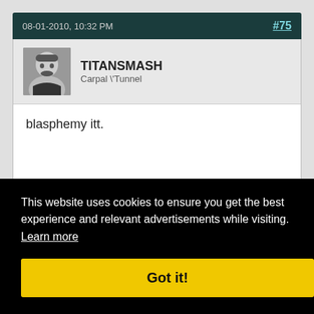08-01-2010, 10:32 PM  #75
TITANSMASH
Carpal \"Tunnel
blasphemy itt.
«  <  Page 3 of 122 ▾  >  »
This website uses cookies to ensure you get the best experience and relevant advertisements while visiting.  Learn more
Got it!